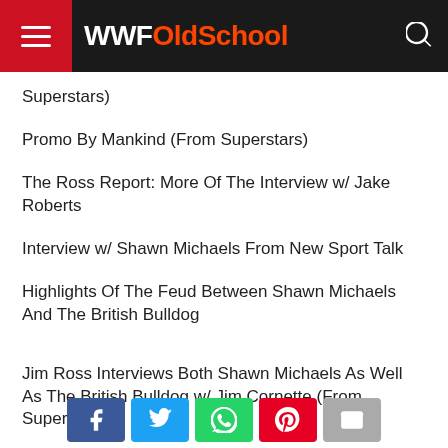WWFOldSchool
Superstars)
Promo By Mankind (From Superstars)
The Ross Report: More Of The Interview w/ Jake Roberts
Interview w/ Shawn Michaels From New Sport Talk
Highlights Of The Feud Between Shawn Michaels And The British Bulldog
Jim Ross Interviews Both Shawn Michaels As Well As The British Bulldog w/ Jim Cornette (From Superstars)